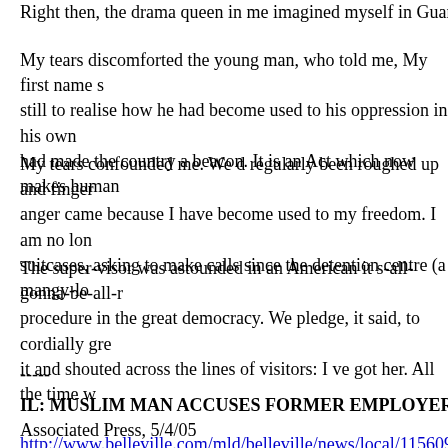Right then, the drama queen in me imagined myself in Guantanamo
My tears discomforted the young man, who told me, My first name s still to realise how he had become used to his oppression in his own had made the country a beacon. It is an Act which now makes human
My tears confounded me. We d regularly been roughed up and finger anger came because I have become used to my freedom. I am no long suitcases, asking to make calls since the detention centre (a mangy-lo
The super-visor was astounded in an American it s-all-gonna-be-all-r procedure in the great democracy. We pledge, it said, to cordially gre it and shouted across the lines of visitors: I ve got her. All the time w
-----
IL: MUSLIM MAN ACCUSES FORMER EMPLOYER OF DISCR Associated Press, 5/4/05
http://www.belleville.com/mld/belleville/news/local/11560901.htm
CHICAGO - Federal officials have filed a discrimination lawsuit on
Amer Mirza, 25, of Aurora accuses his bosses at Specialty Publishing Commission filed the lawsuit Monday.